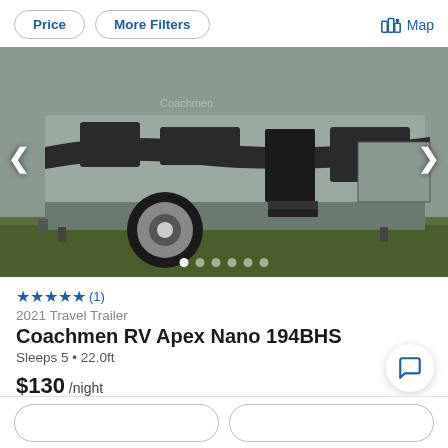Price  More Filters  Map
[Figure (photo): Exterior side view of a Coachmen travel trailer RV parked on grass, showing the grey and black striped body, wheel, entry steps, and slide-out sections.]
★★★★★ (1)
2021 Travel Trailer
Coachmen RV Apex Nano 194BHS
Sleeps 5 • 22.0ft
$130 /night